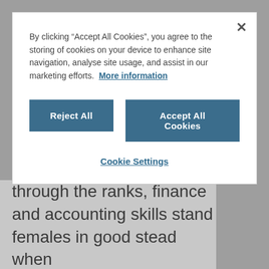through the ranks, finance and accounting skills stand females in good stead when
By clicking “Accept All Cookies”, you agree to the storing of cookies on your device to enhance site navigation, analyse site usage, and assist in our marketing efforts.  More information
Reject All
Accept All Cookies
Cookie Settings